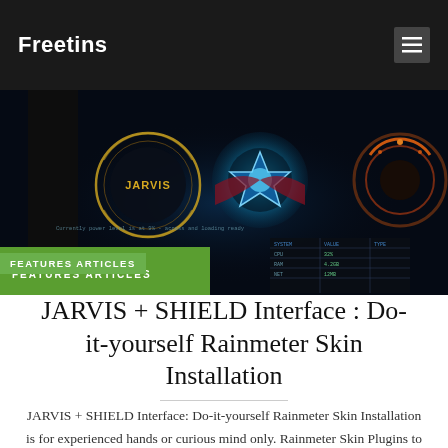Freetins
[Figure (screenshot): JARVIS + SHIELD Interface Rainmeter skin screenshot showing futuristic HUD with circular JARVIS badge, glowing blue orb with star shape, and orange circular gauge on dark background]
FEATURES ARTICLES
JARVIS + SHIELD Interface : Do-it-yourself Rainmeter Skin Installation
JARVIS + SHIELD Interface: Do-it-yourself Rainmeter Skin Installation is for experienced hands or curious mind only. Rainmeter Skin Plugins to be used for the configuration of the desktop skin. Credits: Wallpaper: Various Google….